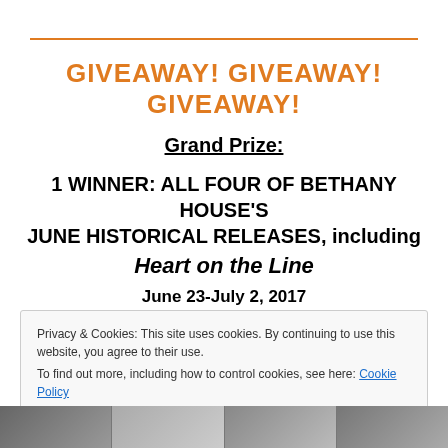GIVEAWAY!  GIVEAWAY!  GIVEAWAY!
Grand Prize:
1 WINNER: ALL FOUR OF BETHANY HOUSE'S JUNE HISTORICAL RELEASES, including Heart on the Line
June 23-July 2, 2017
(U.S. Only)
Privacy & Cookies: This site uses cookies. By continuing to use this website, you agree to their use. To find out more, including how to control cookies, see here: Cookie Policy
[Figure (photo): Row of book cover images at the bottom of the page]